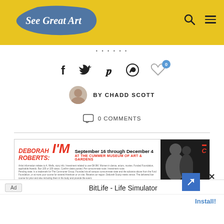See Great Art
BY CHADD SCOTT
0 COMMENTS
[Figure (other): Advertisement for Deborah Roberts: I'M exhibition at the Cummer Museum of Art & Gardens, September 16 through December 4]
What do you think?
Your email address will not be published. Required fields a marked *
[Figure (other): Bottom ad overlay: BitLife - Life Simulator with Install button]